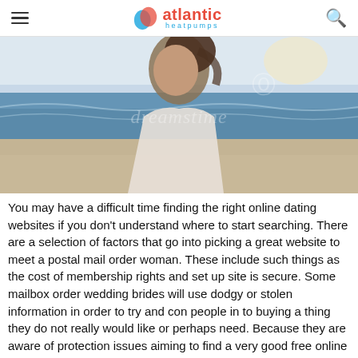atlantic heatpumps
[Figure (photo): Woman at a beach smiling, with ocean waves in the background. Dreamstime watermark visible.]
You may have a difficult time finding the right online dating websites if you don't understand where to start searching. There are a selection of factors that go into picking a great website to meet a postal mail order woman. These include such things as the cost of membership rights and set up site is secure. Some mailbox order wedding brides will use dodgy or stolen information in order to try and con people in to buying a thing they do not really would like or perhaps need. Because they are aware of protection issues aiming to find a very good free online dating site that has a good reputation will allow you to avoid such a problem.